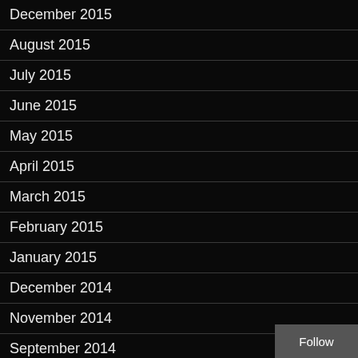December 2015
August 2015
July 2015
June 2015
May 2015
April 2015
March 2015
February 2015
January 2015
December 2014
November 2014
September 2014
August 2014